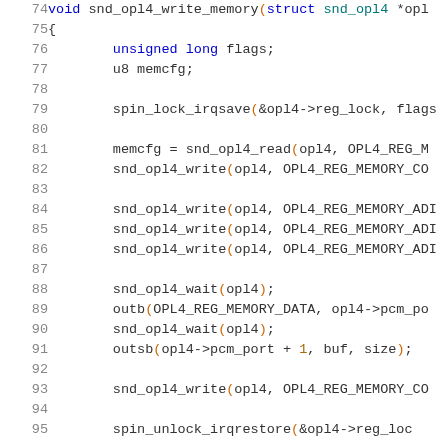[Figure (screenshot): Source code listing showing lines 74-95 of a C function snd_opl4_write_memory, with syntax highlighting. Line numbers in gray on the left, keywords in blue, function names in dark, constants in gold, and punctuation in orange.]